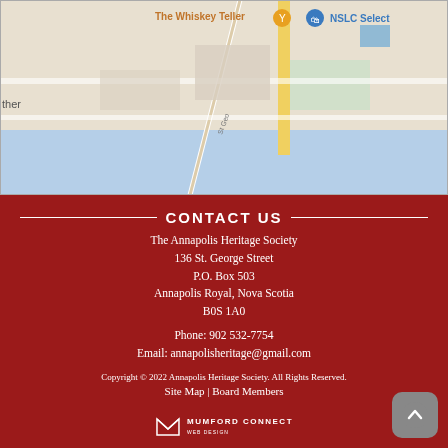[Figure (map): Google Maps screenshot showing street map area with The Whiskey Teller and NSLC Select marked, St. George Street visible.]
CONTACT US
The Annapolis Heritage Society
136 St. George Street
P.O. Box 503
Annapolis Royal, Nova Scotia
B0S 1A0
Phone: 902 532-7754
Email: annapolisheritage@gmail.com
Copyright © 2022 Annapolis Heritage Society. All Rights Reserved.
Site Map | Board Members
[Figure (logo): Mumford Connect Web Design logo with envelope icon and text MUMFORD CONNECT WEB DESIGN]